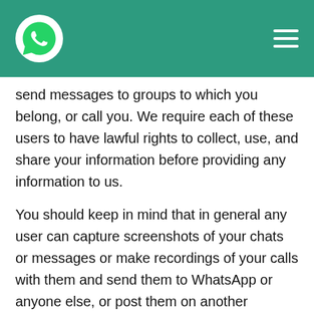WhatsApp header with logo and hamburger menu
send messages to groups to which you belong, or call you. We require each of these users to have lawful rights to collect, use, and share your information before providing any information to us.
You should keep in mind that in general any user can capture screenshots of your chats or messages or make recordings of your calls with them and send them to WhatsApp or anyone else, or post them on another platform.
User Reports. Just as you can report other users, other users or third parties may also choose to report to us your interactions and your messages with them or others on our Services; for example,